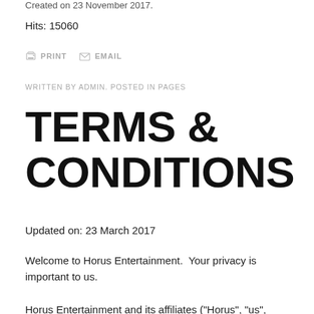Created on 23 November 2017.
Hits: 15060
PRINT   EMAIL
WRITTEN BY ADMIN. POSTED IN PAGES
TERMS & CONDITIONS
Updated on: 23 March 2017
Welcome to Horus Entertainment.  Your privacy is important to us.
Horus Entertainment and its affiliates ("Horus", "us", "our"